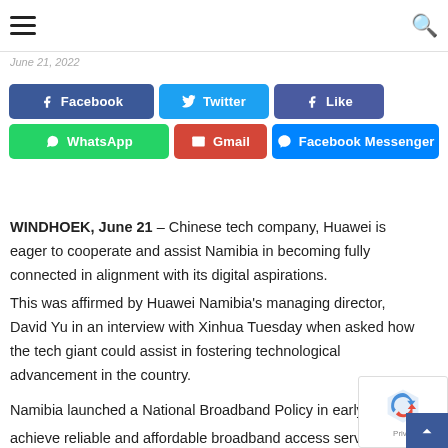Navigation header with hamburger menu and search icon
June 21, 2022
[Figure (other): Social share buttons: Facebook, Twitter, Like, WhatsApp, Gmail, Facebook Messenger]
WINDHOEK, June 21 – Chinese tech company, Huawei is eager to cooperate and assist Namibia in becoming fully connected in alignment with its digital aspirations.
This was affirmed by Huawei Namibia's managing director, David Yu in an interview with Xinhua Tuesday when asked how the tech giant could assist in fostering technological advancement in the country.
Namibia launched a National Broadband Policy in early 20… achieve reliable and affordable broadband access services for a…